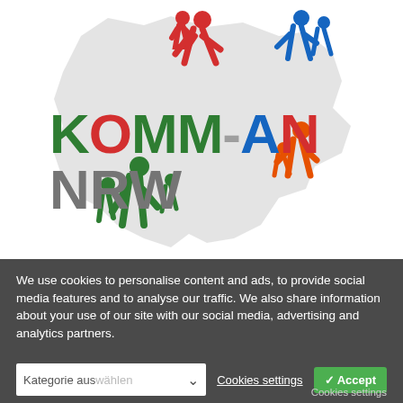[Figure (logo): KOMM-AN NRW logo with colorful human silhouettes on a grey NRW map outline. Text reads KOMM-AN in green, red, red, grey dash, blue, red letters and NRW in grey. Human figures in red, blue, orange, and green.]
We use cookies to personalise content and ads, to provide social media features and to analyse our traffic. We also share information about your use of our site with our social media, advertising and analytics partners.
Kategorie auswählen
Cookies settings
✓ Accept
Cookies settings